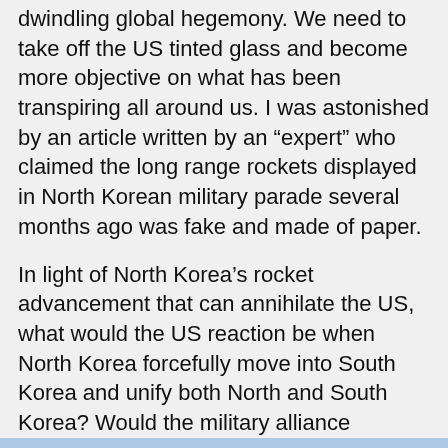dwindling global hegemony. We need to take off the US tinted glass and become more objective on what has been transpiring all around us. I was astonished by an article written by an “expert” who claimed the long range rockets displayed in North Korean military parade several months ago was fake and made of paper.
In light of North Korea’s rocket advancement that can annihilate the US, what would the US reaction be when North Korea forcefully move into South Korea and unify both North and South Korea? Would the military alliance between South Korea and the US is still valid? Would the US risk her territory being annihilated to save South Korea? There are many questions that are raised and need to be answered.